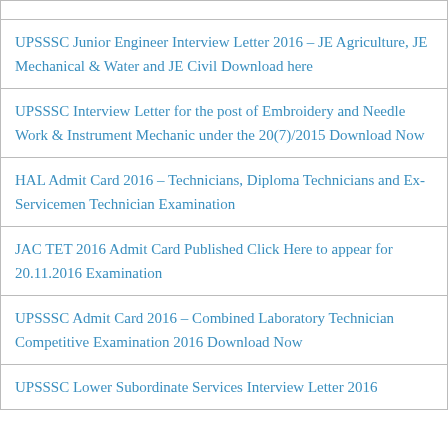UPSSSC Junior Engineer Interview Letter 2016 – JE Agriculture, JE Mechanical & Water and JE Civil Download here
UPSSSC Interview Letter for the post of Embroidery and Needle Work & Instrument Mechanic under the 20(7)/2015 Download Now
HAL Admit Card 2016 – Technicians, Diploma Technicians and Ex-Servicemen Technician Examination
JAC TET 2016 Admit Card Published Click Here to appear for 20.11.2016 Examination
UPSSSC Admit Card 2016 – Combined Laboratory Technician Competitive Examination 2016 Download Now
UPSSSC Lower Subordinate Services Interview Letter 2016